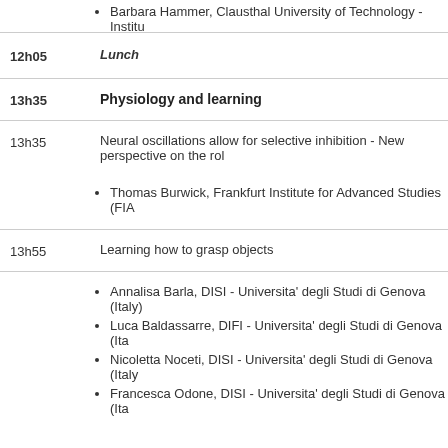Barbara Hammer, Clausthal University of Technology - Institu...
12h05   Lunch
13h35   Physiology and learning
13h35   Neural oscillations allow for selective inhibition - New perspective on the rol...
Thomas Burwick, Frankfurt Institute for Advanced Studies (FIA...
13h55   Learning how to grasp objects
Annalisa Barla, DISI - Universita' degli Studi di Genova (Italy)
Luca Baldassarre, DIFI - Universita' degli Studi di Genova (Ita...
Nicoletta Noceti, DISI - Universita' degli Studi di Genova (Italy...
Francesca Odone, DISI - Universita' degli Studi di Genova (Ita...